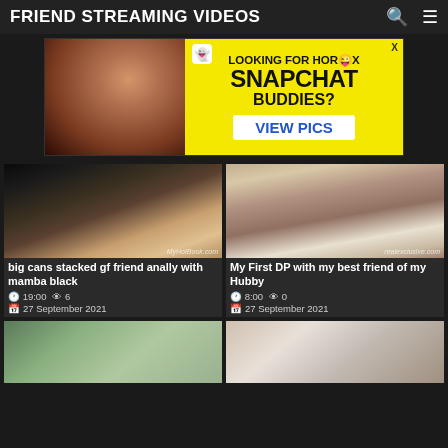FRIEND STREAMING VIDEOS
[Figure (photo): Advertisement banner: Snapchat buddies ad with photo on left and yellow text area on right reading LOOKING FOR HOT SNAPCHAT BUDDIES? VIEW PICS]
[Figure (photo): Video thumbnail: big cans stacked gf friend anally with mamba black, sourced from MyHotBook.com]
big cans stacked gf friend anally with mamba black
19:00  6  27 September 2021
[Figure (photo): Video thumbnail: My First DP with my best friend of my Hubby, sourced from realexclusive.com]
My First DP with my best friend of my Hubby
8:00  0  27 September 2021
[Figure (photo): Partially visible video thumbnail at bottom left]
[Figure (photo): Partially visible video thumbnail at bottom right]